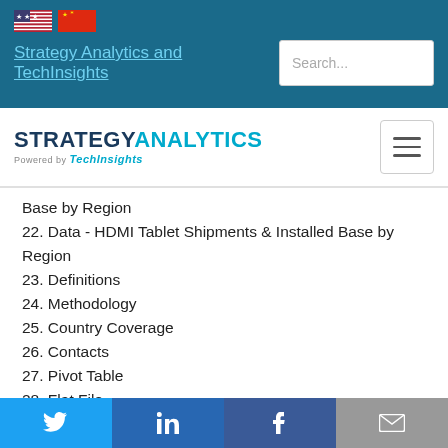[Figure (screenshot): Top navigation bar with US and Chinese flags, site title link 'Strategy Analytics and TechInsights', and search box]
[Figure (logo): Strategy Analytics powered by TechInsights logo with hamburger menu icon]
Base by Region
22. Data - HDMI Tablet Shipments & Installed Base by Region
23. Definitions
24. Methodology
25. Country Coverage
26. Contacts
27. Pivot Table
28. Flat File
For more information about our services please contact us or email
[Figure (infographic): Social media footer buttons: Twitter, LinkedIn, Facebook, Email]